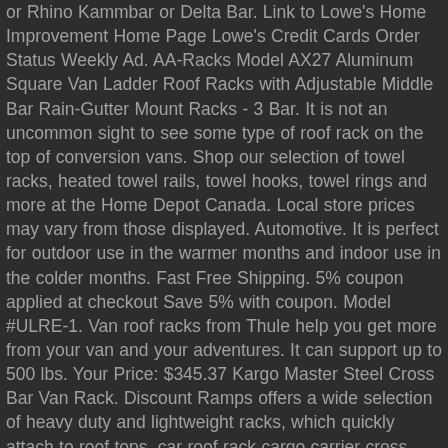or Rhino Kammbar or Delta Bar. Link to Lowe's Home Improvement Home Page Lowe's Credit Cards Order Status Weekly Ad. AA-Racks Model AX27 Aluminum Square Van Ladder Roof Racks with Adjustable Middle Bar Rain-Gutter Mount Racks - 3 Bar. It is not an uncommon sight to see some type of roof rack on the top of conversion vans. Shop our selection of towel racks, heated towel rails, towel hooks, towel rings and more at the Home Depot Canada. Local store prices may vary from those displayed. Automotive. It is perfect for outdoor use in the warmer months and indoor use in the colder months. Fast Free Shipping. 5% coupon applied at checkout Save 5% with coupon. Model #ULRE-1. Van roof racks from Thule help you get more from your van and your adventures. It can support up to 500 lbs. Your Price: $345.37 Kargo Master Steel Cross Bar Van Rack. Discount Ramps offers a wide selection of heavy duty and lightweight racks, which quickly attach to roof tops. car roof rack cargo carrier cross bars roof rack cross bars roof top cargo basket 50 in. 100% Upvoted. Get free shipping on qualified 4 & Up Roof Roof Racks or Buy Online Pick